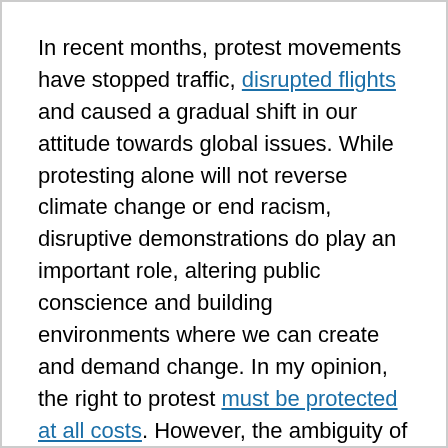In recent months, protest movements have stopped traffic, disrupted flights and caused a gradual shift in our attitude towards global issues. While protesting alone will not reverse climate change or end racism, disruptive demonstrations do play an important role, altering public conscience and building environments where we can create and demand change. In my opinion, the right to protest must be protected at all costs. However, the ambiguity of This House's motion left me floundering beyond this point, and I gained little more from the preoccupied speakers…
This led me to think about the role of the Press in general. In a democratic society, journalists